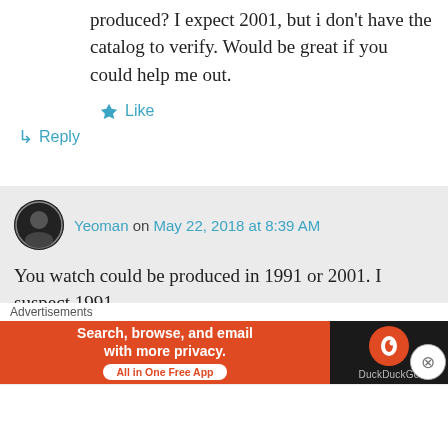produced? I expect 2001, but i don't have the catalog to verify. Would be great if you could help me out.
★ Like
↳ Reply
Yeoman on May 22, 2018 at 8:39 AM
You watch could be produced in 1991 or 2001. I suspect 1991.
★ Like
↳ Reply
Advertisements
Search, browse, and email with more privacy. All in One Free App